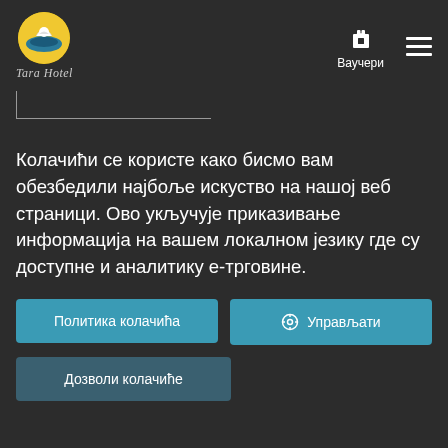[Figure (logo): Tara Hotel logo with circular emblem and italic script text]
Колачићи се користе како бисмо вам обезбедили најбоље искуство на нашој веб страници. Ово укључује приказивање информација на вашем локалном језику где су доступне и аналитику е-трговине.
Политика колачића
Управљати
Дозволи колачиће